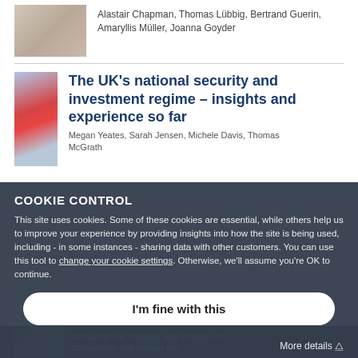Alastair Chapman, Thomas Lübbig, Bertrand Guerin, Amaryllis Müller, Joanna Goyder
The UK's national security and investment regime – insights and experience so far
Megan Yeates, Sarah Jensen, Michele Davis, Thomas McGrath
COOKIE CONTROL
This site uses cookies. Some of these cookies are essential, while others help us to improve your experience by providing insights into how the site is being used, including - in some instances - sharing data with other customers. You can use this tool to change your cookie settings. Otherwise, we'll assume you're OK to continue.
I'm fine with this
consumer law regimes: key changes to competition and merger enf
Michele Davis, Sarah Jensen, Rikki Haria, Franck...
More details